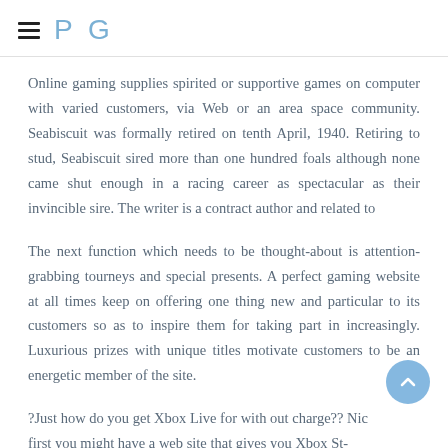P G
Online gaming supplies spirited or supportive games on computer with varied customers, via Web or an area space community. Seabiscuit was formally retired on tenth April, 1940. Retiring to stud, Seabiscuit sired more than one hundred foals although none came shut enough in a racing career as spectacular as their invincible sire. The writer is a contract author and related to
The next function which needs to be thought-about is attention-grabbing tourneys and special presents. A perfect gaming website at all times keep on offering one thing new and particular to its customers so as to inspire them for taking part in increasingly. Luxurious prizes with unique titles motivate customers to be an energetic member of the site.
?Just how do you get Xbox Live for with out charge?? Nic- first you might have a web site that gives you Xbox St-